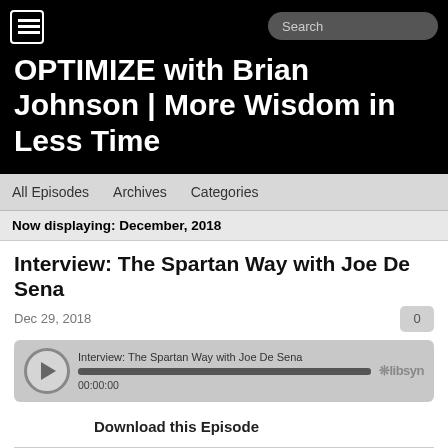OPTIMIZE with Brian Johnson | More Wisdom in Less Time
All Episodes   Archives   Categories
Now displaying: December, 2018
Interview: The Spartan Way with Joe De Sena
Dec 29, 2018
[Figure (other): Audio player widget showing 'Interview: The Spartan Way with Joe De Sena', progress bar at 00:00:00, Libsyn logo]
Download this Episode
Greatest Year Ever 2019 (Intro)